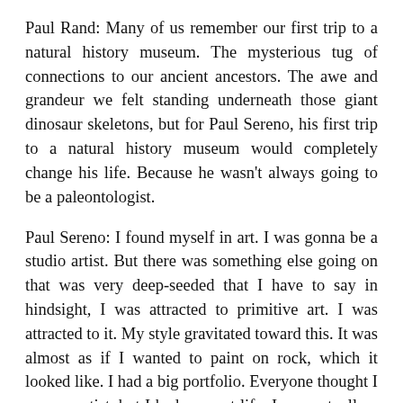Paul Rand: Many of us remember our first trip to a natural history museum. The mysterious tug of connections to our ancient ancestors. The awe and grandeur we felt standing underneath those giant dinosaur skeletons, but for Paul Sereno, his first trip to a natural history museum would completely change his life. Because he wasn't always going to be a paleontologist.
Paul Sereno: I found myself in art. I was gonna be a studio artist. But there was something else going on that was very deep-seeded that I have to say in hindsight, I was attracted to primitive art. I was attracted to it. My style gravitated toward this. It was almost as if I wanted to paint on rock, which it looked like. I had a big portfolio. Everyone thought I was an artist, but I had a secret life: I was actually a biology major. I hadn't completely committed